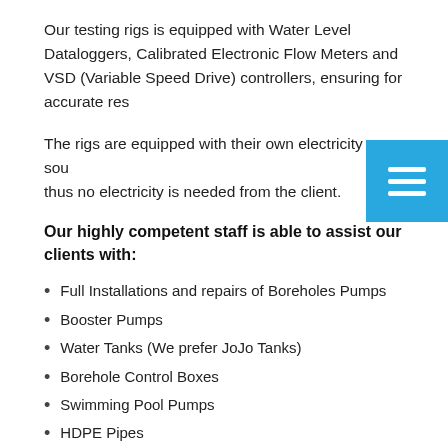Our testing rigs is equipped with Water Level Dataloggers, Calibrated Electronic Flow Meters and VSD (Variable Speed Drive) controllers, ensuring for accurate results.
The rigs are equipped with their own electricity source, thus no electricity is needed from the client.
Our highly competent staff is able to assist our clients with:
Full Installations and repairs of Boreholes Pumps
Booster Pumps
Water Tanks (We prefer JoJo Tanks)
Borehole Control Boxes
Swimming Pool Pumps
HDPE Pipes
Maintenance of existing Boreholes
Linking Borehole systems with Irrigation systems